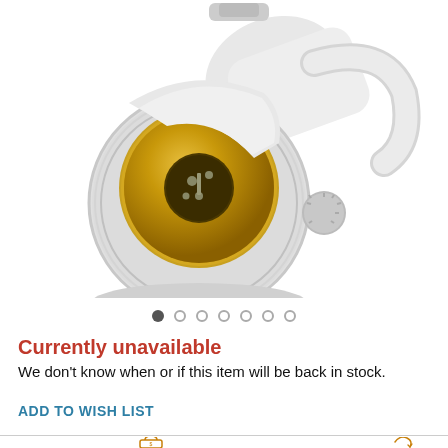[Figure (photo): White light bulb socket adapter with gold/brass interior and silver adjustment knob, photographed from above at an angle on a white background.]
Currently unavailable
We don't know when or if this item will be back in stock.
ADD TO WISH LIST
[Figure (illustration): Bottom section showing icons for secure payment (padlock with dollar sign) and returns (circular arrow with container), partially visible.]